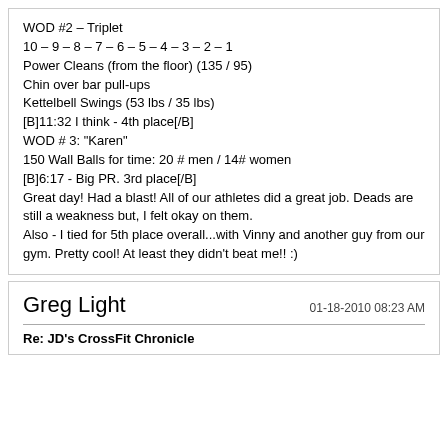WOD #2 – Triplet
10 – 9 – 8 – 7 – 6 – 5 – 4 – 3 – 2 – 1
Power Cleans (from the floor) (135 / 95)
Chin over bar pull-ups
Kettelbell Swings (53 lbs / 35 lbs)
[B]11:32 I think - 4th place[/B]
WOD # 3: "Karen"
150 Wall Balls for time: 20 # men / 14# women
[B]6:17 - Big PR. 3rd place[/B]
Great day! Had a blast! All of our athletes did a great job. Deads are still a weakness but, I felt okay on them.
Also - I tied for 5th place overall...with Vinny and another guy from our gym. Pretty cool! At least they didn't beat me!! :)
Greg Light
01-18-2010 08:23 AM
Re: JD's CrossFit Chronicle